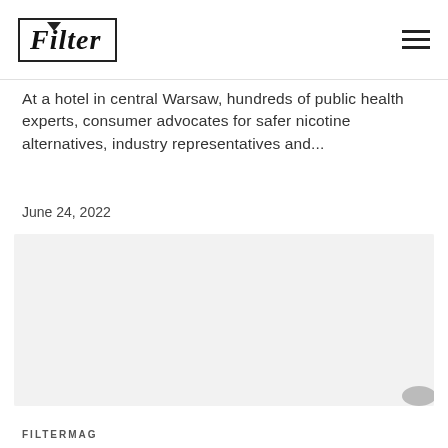Filter
At a hotel in central Warsaw, hundreds of public health experts, consumer advocates for safer nicotine alternatives, industry representatives and...
June 24, 2022
[Figure (photo): Light gray placeholder image block]
FILTERMAG